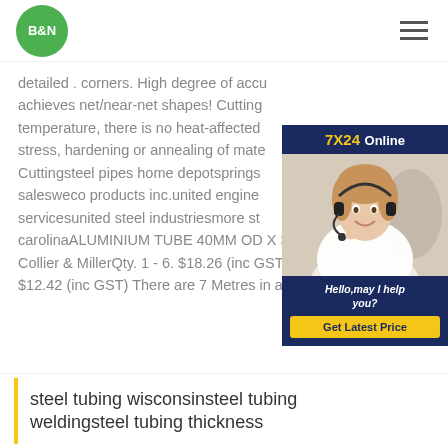B&N
detailed . corners. High degree of accuracy achieves net/near-net shapes! Cutting temperature, there is no heat-affected stress, hardening or annealing of material. Cutting steel pipes home depot springs salesweco products inc.united engineering services united steel industries more steel carolina ALUMINIUM TUBE 40MM OD X 3MM - Collier & MillerQty. 1 - 6. $18.26 (inc GST) 7+. $12.42 (inc GST) There are 7 Metres in a LENGTH.
[Figure (photo): Customer service representative wearing headset with 7X24 Online banner and Hello, may I help you? text with Get Latest Price button]
steel tubing wisconsin steel tubing welding steel tubing thickness